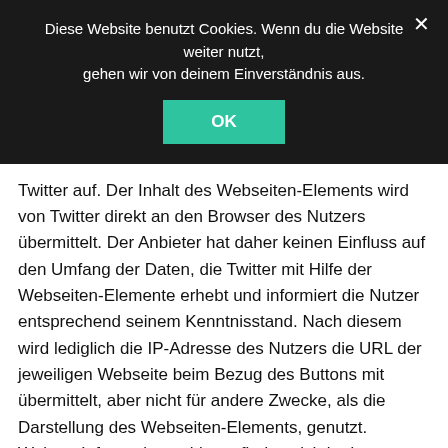Diese Website benutzt Cookies. Wenn du die Website weiter nutzt, gehen wir von deinem Einverständnis aus.
Twitter auf. Der Inhalt des Webseiten-Elements wird von Twitter direkt an den Browser des Nutzers übermittelt. Der Anbieter hat daher keinen Einfluss auf den Umfang der Daten, die Twitter mit Hilfe der Webseiten-Elemente erhebt und informiert die Nutzer entsprechend seinem Kenntnisstand. Nach diesem wird lediglich die IP-Adresse des Nutzers die URL der jeweiligen Webseite beim Bezug des Buttons mit übermittelt, aber nicht für andere Zwecke, als die Darstellung des Webseiten-Elements, genutzt. Weitere Informationen hierzu finden sich in der Datenschutzerklärung von Twitter unter http://twitter.com/privacy.
Widerruf, Änderungen, Berichtigungen und